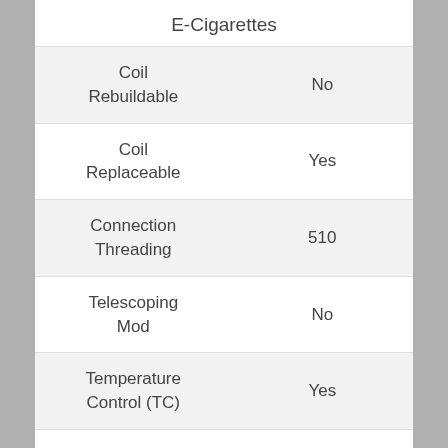E-Cigarettes
| Feature | Value |
| --- | --- |
| Coil Rebuildable | No |
| Coil Replaceable | Yes |
| Connection Threading | 510 |
| Telescoping Mod | No |
| Temperature Control (TC) | Yes |
| Variable Voltage (VV) | No |